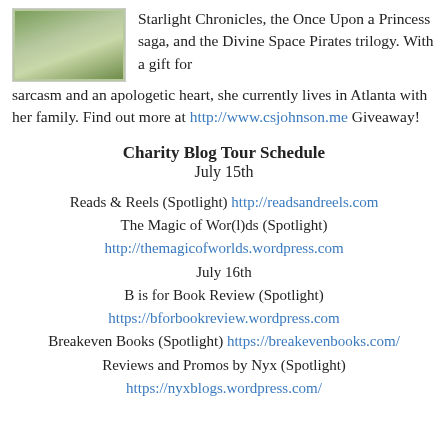[Figure (photo): Outdoor photo of a person or animal, appears to show a subject on grass with greenery in background]
Starlight Chronicles, the Once Upon a Princess saga, and the Divine Space Pirates trilogy. With a gift for sarcasm and an apologetic heart, she currently lives in Atlanta with her family. Find out more at http://www.csjohnson.me Giveaway!
Charity Blog Tour Schedule
July 15th
Reads & Reels (Spotlight) http://readsandreels.com
The Magic of Wor(l)ds (Spotlight)
http://themagicofworlds.wordpress.com
July 16th
B is for Book Review (Spotlight)
https://bforbookreview.wordpress.com
Breakeven Books (Spotlight) https://breakevenbooks.com/
Reviews and Promos by Nyx (Spotlight)
https://nyxblogs.wordpress.com/